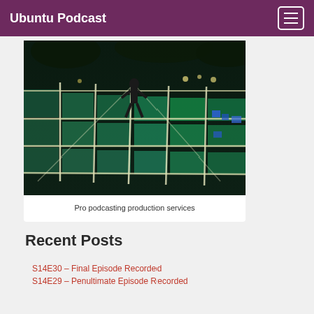Ubuntu Podcast
[Figure (photo): Person standing on an illuminated grid floor with teal/blue glowing squares at night, with trees in background]
Pro podcasting production services
Recent Posts
S14E30 – Final Episode Recorded
S14E29 – Penultimate Episode Recorded